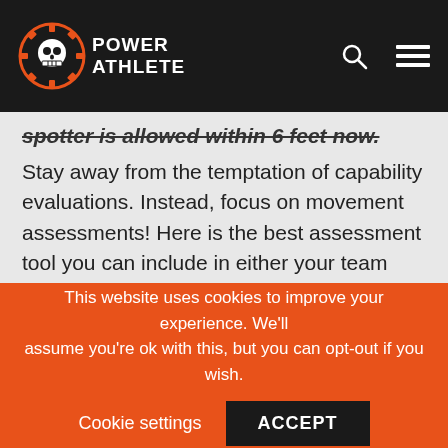Power Athlete
spotter is allowed within 6 feet now.
Stay away from the temptation of capability evaluations. Instead, focus on movement assessments! Here is the best assessment tool you can include in either your team station work or the warm up for practice. The beauty of these assessments is they double as their own corrective exercises. These focus on the weak trunk and hips you'll spot, as well as help open up tight hamstrings and calves your athletes will have earned from completing their Netflix and Warzone marathon.
This website uses cookies to improve your experience. We'll assume you're ok with this, but you can opt-out if you wish. Cookie settings ACCEPT